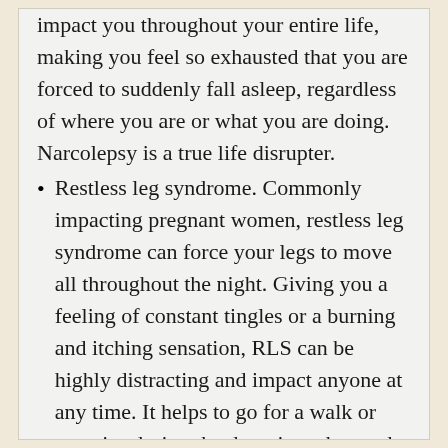impact you throughout your entire life, making you feel so exhausted that you are forced to suddenly fall asleep, regardless of where you are or what you are doing. Narcolepsy is a true life disrupter.
Restless leg syndrome. Commonly impacting pregnant women, restless leg syndrome can force your legs to move all throughout the night. Giving you a feeling of constant tingles or a burning and itching sensation, RLS can be highly distracting and impact anyone at any time. It helps to go for a walk or exercise during the day, since those who are sedentary tend to experience RLS more frequently.
Jet lag. While most people view jet lag as a part of long-distance travel, it is a real sleep disorder, and if your body does not adjust well to the changes in time zones, jet lag could impact you for days or even